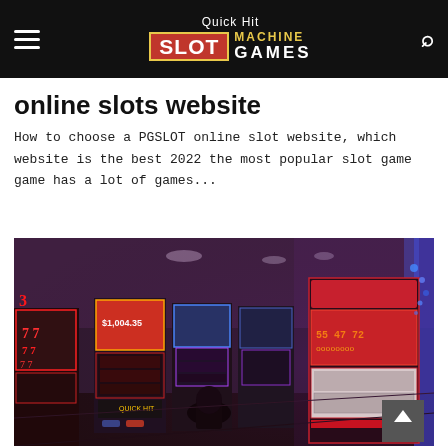Quick Hit SLOT MACHINE GAMES
online slots website
How to choose a PGSLOT online slot website, which website is the best 2022 the most popular slot game game has a lot of games...
[Figure (photo): Interior of a casino floor showing rows of colorful slot machines with neon lights in purple and red tones, person seated in foreground]